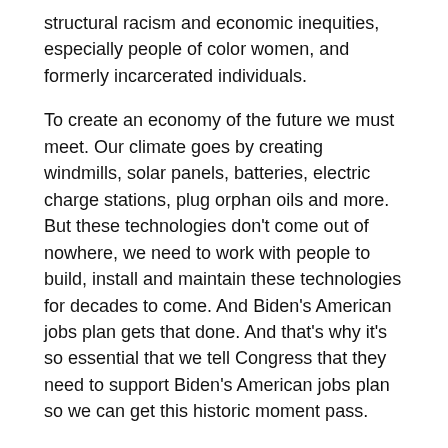structural racism and economic inequities, especially people of color women, and formerly incarcerated individuals.
To create an economy of the future we must meet. Our climate goes by creating windmills, solar panels, batteries, electric charge stations, plug orphan oils and more. But these technologies don't come out of nowhere, we need to work with people to build, install and maintain these technologies for decades to come. And Biden’s American jobs plan gets that done. And that’s why it’s so essential that we tell Congress that they need to support Biden’s American jobs plan so we can get this historic moment pass.
Mike Tidwell  53:10
Thank you Quentin. I mean, just just hearing what this plan will do for West Virginia alone is amazing.